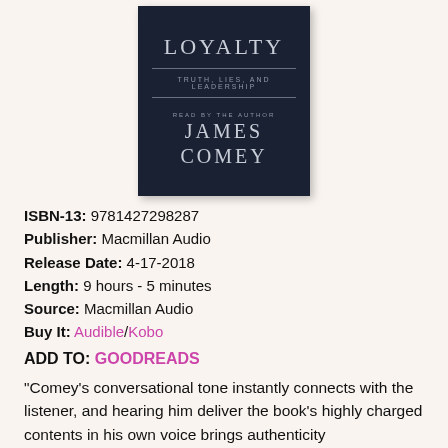[Figure (illustration): Book cover for 'A Higher Loyalty' showing title LOYALTY, subtitle TRUTH, LIES, AND LEADERSHIP, and author JAMES COMEY on a dark navy background]
ISBN-13: 9781427298287
Publisher: Macmillan Audio
Release Date: 4-17-2018
Length: 9 hours - 5 minutes
Source: Macmillan Audio
Buy It: Audible/Kobo
ADD TO: GOODREADS
"Comey's conversational tone instantly connects with the listener, and hearing him deliver the book's highly charged contents in his own voice brings authenticity